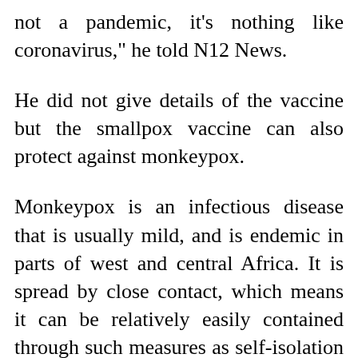not a pandemic, it's nothing like coronavirus," he told N12 News.
He did not give details of the vaccine but the smallpox vaccine can also protect against monkeypox.
Monkeypox is an infectious disease that is usually mild, and is endemic in parts of west and central Africa. It is spread by close contact, which means it can be relatively easily contained through such measures as self-isolation and hygiene once a new case is